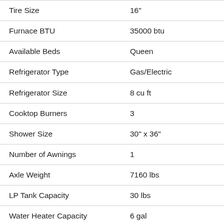| Specification | Value |
| --- | --- |
| Tire Size | 16" |
| Furnace BTU | 35000 btu |
| Available Beds | Queen |
| Refrigerator Type | Gas/Electric |
| Refrigerator Size | 8 cu ft |
| Cooktop Burners | 3 |
| Shower Size | 30" x 36" |
| Number of Awnings | 1 |
| Axle Weight | 7160 lbs |
| LP Tank Capacity | 30 lbs |
| Water Heater Capacity | 6 gal |
| Water Heater Type | Gas/Electric DSI |
| AC BTU | 15000 btu |
| TV Info | LR 43" Smart |